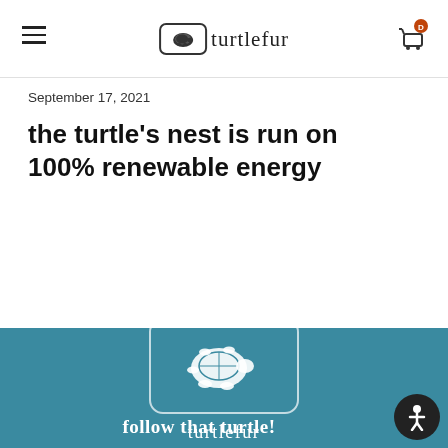turtlefur
September 17, 2021
the turtle's nest is run on 100% renewable energy
[Figure (illustration): Mountain silhouette divider transitioning from white to teal background]
[Figure (logo): Turtlefur logo: white turtle silhouette in rounded rectangle box with 'turtlefur' text below, on teal background]
follow that turtle!